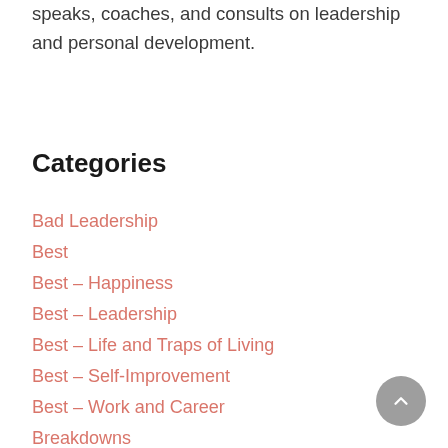speaks, coaches, and consults on leadership and personal development.
Categories
Bad Leadership
Best
Best – Happiness
Best – Leadership
Best – Life and Traps of Living
Best – Self-Improvement
Best – Work and Career
Breakdowns